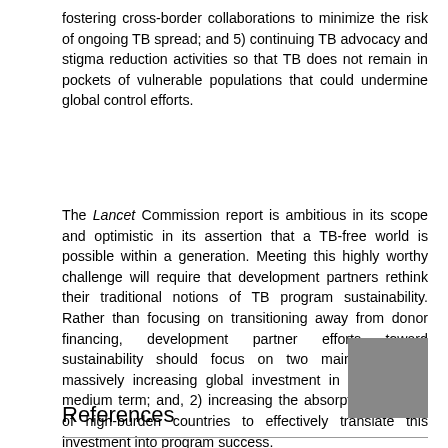fostering cross-border collaborations to minimize the risk of ongoing TB spread; and 5) continuing TB advocacy and stigma reduction activities so that TB does not remain in pockets of vulnerable populations that could undermine global control efforts.
The Lancet Commission report is ambitious in its scope and optimistic in its assertion that a TB-free world is possible within a generation. Meeting this highly worthy challenge will require that development partners rethink their traditional notions of TB program sustainability. Rather than focusing on transitioning away from donor financing, development partner efforts toward sustainability should focus on two main goals: 1) massively increasing global investment in the short to medium term; and, 2) increasing the absorption capacity of high-burden countries to effectively translate this investment into program success.
References